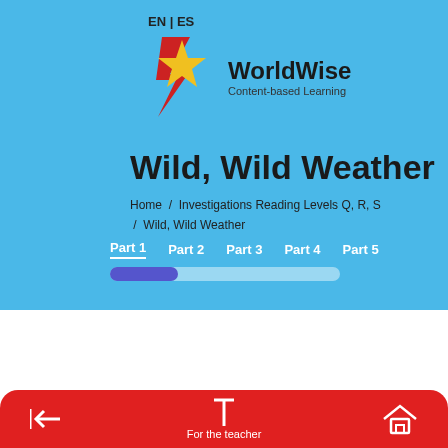[Figure (logo): WorldWise Content-based Learning logo with red lightning bolt and yellow star, with EN | ES language toggle above]
Wild, Wild Weather
Home / Investigations Reading Levels Q, R, S / Wild, Wild Weather
Part 1  Part 2  Part 3  Part 4  Part 5
[Figure (infographic): Progress bar showing Part 1 partially filled in purple/blue, remaining sections in light gray]
[Figure (infographic): Red navigation bar at bottom with back arrow icon, T (For the teacher) icon with label, and home icon]